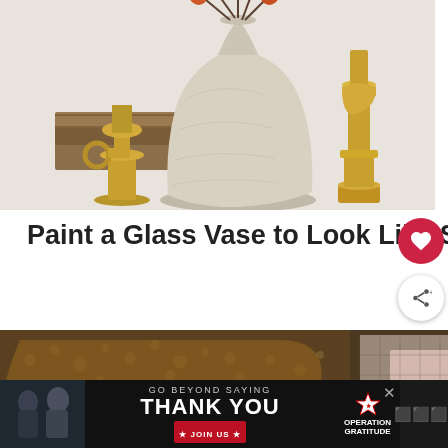[Figure (photo): A white textured stoneware-look vase with orange/red dried flowers, flanked by two brass candlesticks, sitting next to stacked antique books on a light background]
Paint a Glass Vase to Look Like Stoneware
[Figure (photo): A collage of home decor images showing mossy textures, paint color swatches in pink and grey, and a wooden board with dried botanicals]
WHAT'S NEXT →
9 No-Fail Room Paint...
[Figure (photo): Advertisement banner: Operation Gratitude – Go Beyond Saying Thank You. Join Us. Features military personnel photos and red star logo.]